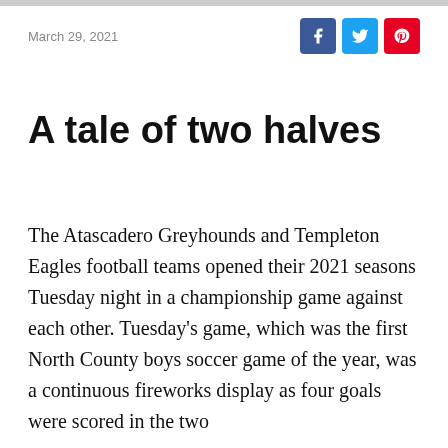March 29, 2021
A tale of two halves
The Atascadero Greyhounds and Templeton Eagles football teams opened their 2021 seasons Tuesday night in a championship game against each other. Tuesday’s game, which was the first North County boys soccer game of the year, was a continuous fireworks display as four goals were scored in the two